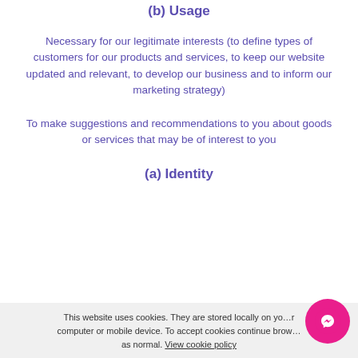(b) Usage
Necessary for our legitimate interests (to define types of customers for our products and services, to keep our website updated and relevant, to develop our business and to inform our marketing strategy)
To make suggestions and recommendations to you about goods or services that may be of interest to you
(a) Identity
(b) Contact
This website uses cookies. They are stored locally on your computer or mobile device. To accept cookies continue browsing as normal. View cookie policy